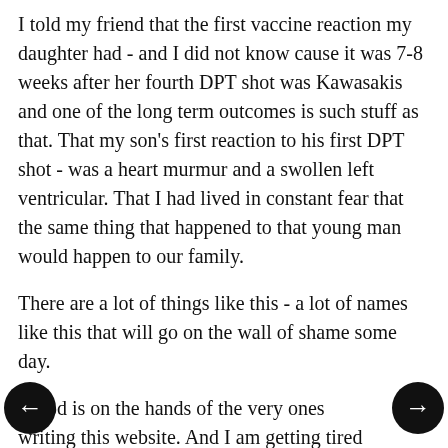I told my friend that the first vaccine reaction my daughter had - and I did not know cause it was 7-8 weeks after her fourth DPT shot was Kawasakis and one of the long term outcomes is such stuff as that. That my son's first reaction to his first DPT shot - was a heart murmur and a swollen left ventricular. That I had lived in constant fear that the same thing that happened to that young man would happen to our family.
There are a lot of things like this - a lot of names like this that will go on the wall of shame some day.
Blood is on the hands of the very ones writing this website. And I am getting tired of the blissful ignorance, from everyone!